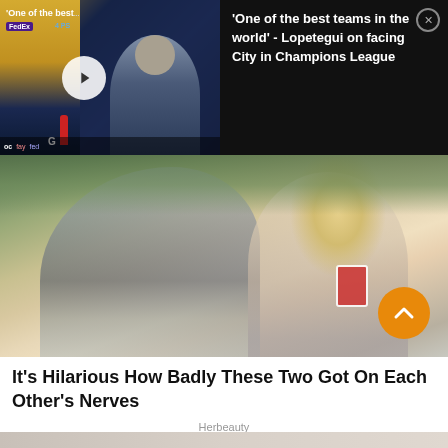[Figure (screenshot): Video thumbnail showing a press conference scene with a man in a suit, FedEx and PlayStation logos visible, with a play button overlay. Text overlay reads 'One of the best...']
'One of the best teams in the world' - Lopetegui on facing City in Champions League
[Figure (photo): Two people smiling and laughing outdoors - a man in a grey t-shirt and a blonde woman holding playing cards. Scroll-up orange button visible in bottom right corner.]
It's Hilarious How Badly These Two Got On Each Other's Nerves
Herbeauty